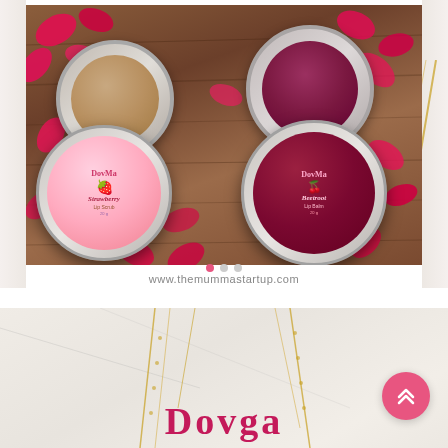[Figure (photo): Product photo showing two circular tin containers of lip products (Strawberry Lip Scrub and Beetroot Lip Balm) by brand 'Dovga' or similar, placed on a wooden surface surrounded by pink and red rose petals. The image includes pagination dots and the website URL www.themummastartup.com at the bottom.]
[Figure (photo): Partial view of a second product image showing a marble background with gold chain/necklace elements and the beginning of text reading 'Dovga' in pink/red serif font. A pink circular scroll-to-top button with double chevron icon is visible on the right.]